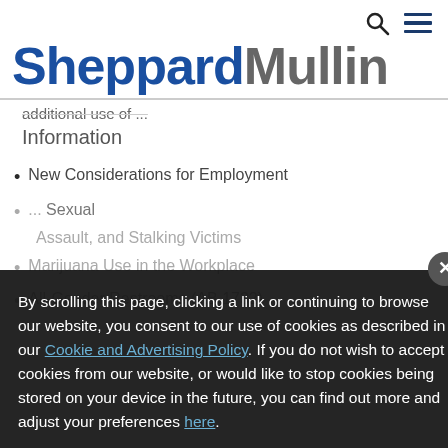SheppardMullin
Information
New Considerations for Employment
... Sexual Assault, and Stalking Victims
Marijuana Use in the Workplace
All-Gender Restrooms (AB 1732)
By scrolling this page, clicking a link or continuing to browse our website, you consent to our use of cookies as described in our Cookie and Advertising Policy. If you do not wish to accept cookies from our website, or would like to stop cookies being stored on your device in the future, you can find out more and adjust your preferences here.